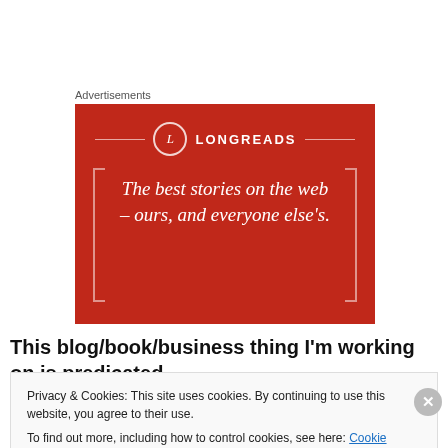Advertisements
[Figure (illustration): Longreads advertisement banner on red background with circle logo, horizontal decorative lines, bracket decorations, and italic serif tagline: The best stories on the web – ours, and everyone else's.]
This blog/book/business thing I'm working on is predicated
Privacy & Cookies: This site uses cookies. By continuing to use this website, you agree to their use.
To find out more, including how to control cookies, see here: Cookie Policy
Close and accept